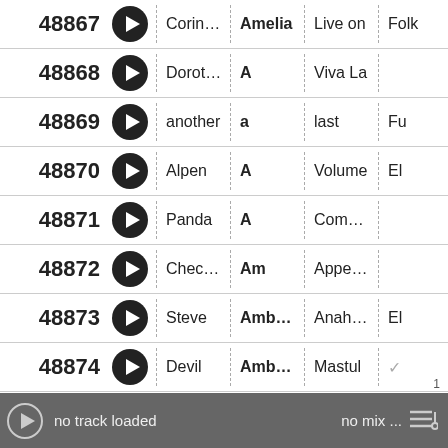| ID |  | Col1 | Col2 | Col3 | Col4 |
| --- | --- | --- | --- | --- | --- |
| 48867 | ▶ | Corinne | Amelia | Live on | Folk |
| 48868 | ▶ | Dorothy's | A | Viva La |  |
| 48869 | ▶ | another | a | last | Fu |
| 48870 | ▶ | Alpen | A | Volume | El |
| 48871 | ▶ | Panda | A | Comunismo |  |
| 48872 | ▶ | Checkie | Am | Appendix |  |
| 48873 | ▶ | Steve | Ambynt | Anaheim: | El |
| 48874 | ▶ | Devil | Ambush | Mastul |  |
1
no track loaded   no mix ...